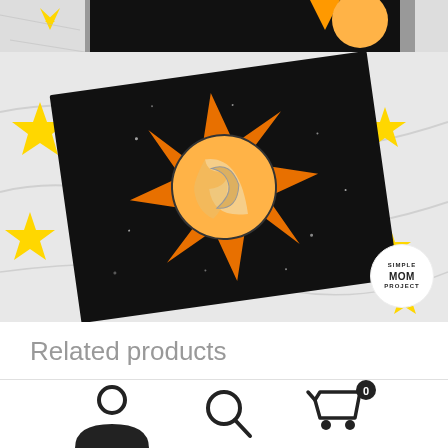[Figure (photo): Top strip showing a partial view of a space-themed craft with an orange sun on black paper and a yellow star cutout on white marble surface]
[Figure (photo): A black paper card with an orange 8-pointed star sun with a peach/yellow circle center on a white marble background surrounded by yellow paper star cutouts. Simple Mom Project watermark in bottom right.]
Related products
[Figure (other): Black banner with white bold text reading CUT AND PASTE]
[Figure (other): Bottom navigation bar with person icon, search icon, and shopping cart icon with badge showing 0]